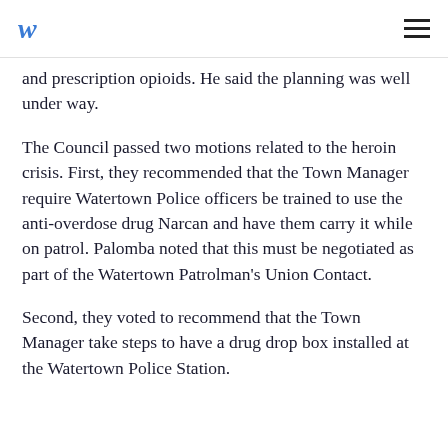W ≡
and prescription opioids. He said the planning was well under way.
The Council passed two motions related to the heroin crisis. First, they recommended that the Town Manager require Watertown Police officers be trained to use the anti-overdose drug Narcan and have them carry it while on patrol. Palomba noted that this must be negotiated as part of the Watertown Patrolman's Union Contact.
Second, they voted to recommend that the Town Manager take steps to have a drug drop box installed at the Watertown Police Station.